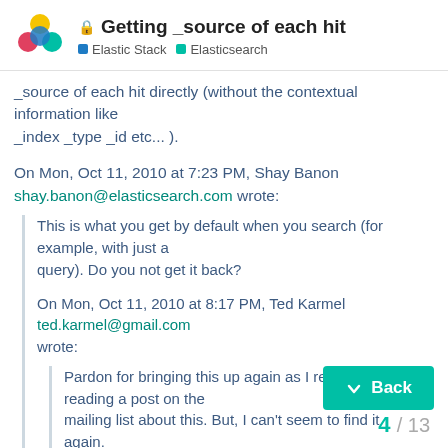Getting _source of each hit — Elastic Stack | Elasticsearch
_source of each hit directly (without the contextual information like _index _type _id etc... ).
On Mon, Oct 11, 2010 at 7:23 PM, Shay Banon shay.banon@elasticsearch.com wrote:
This is what you get by default when you search (for example, with just a query). Do you not get it back?
On Mon, Oct 11, 2010 at 8:17 PM, Ted Karmel ted.karmel@gmail.com wrote:
Pardon for bringing this up again as I remember reading a post on the mailing list about this. But, I can't seem to find it again.
4 / 13